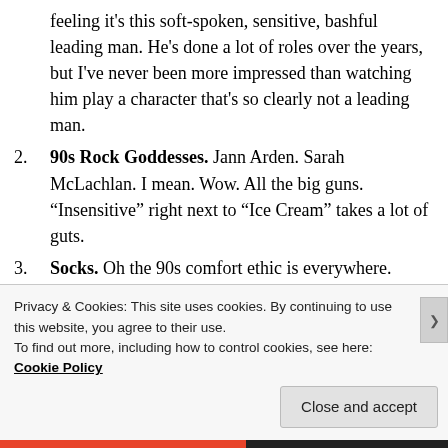feeling it’s this soft-spoken, sensitive, bashful leading man. He’s done a lot of roles over the years, but I’ve never been more impressed than watching him play a character that’s so clearly not a leading man.
2. 90s Rock Goddesses. Jann Arden. Sarah McLachlan. I mean. Wow. All the big guns. “Insensitive” right next to “Ice Cream” takes a lot of guts.
3. Socks. Oh the 90s comfort ethic is everywhere. Everyone’s got a bathrobe, how is that a thing? And the bathrobe is over the sweatpants and the socks that are eight sizes too big. Everything
Privacy & Cookies: This site uses cookies. By continuing to use this website, you agree to their use.
To find out more, including how to control cookies, see here: Cookie Policy
Close and accept